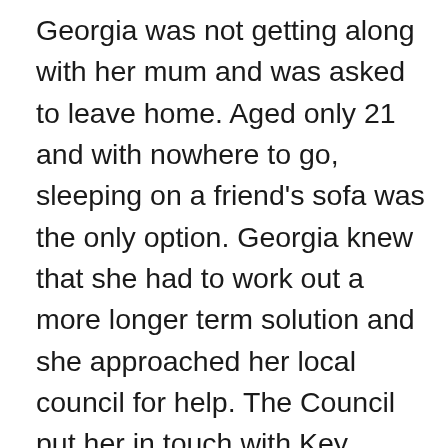Georgia was not getting along with her mum and was asked to leave home. Aged only 21 and with nowhere to go, sleeping on a friend's sofa was the only option. Georgia knew that she had to work out a more longer term solution and she approached her local council for help. The Council put her in touch with Key Unlocking Futures, a charitable arm of Progress Housing Group, which helps people to build better lives for themselves and prevent homelessness through practical and emotional support services such as counselling, mediation, life skills and coaching, tenancy training and employment